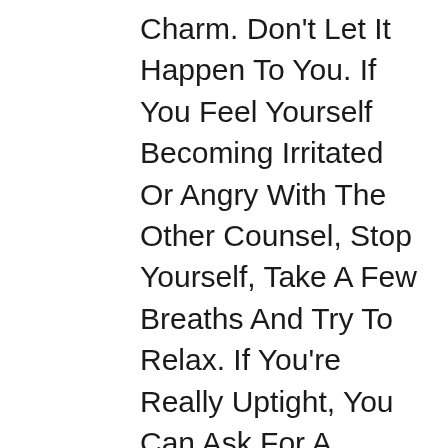Charm. Don't Let It Happen To You. If You Feel Yourself Becoming Irritated Or Angry With The Other Counsel, Stop Yourself, Take A Few Breaths And Try To Relax. If You're Really Uptight, You Can Ask For A Break. You Have An Absolute Right To Take Breaks During A Deposition, And If You're Losing It At A Hearing, You Can Ask The Judge For A Quick Recess. A Judge May Not Grant Your Request, But You Can Buy Yourself A Few Moments To Compose Yourself Just By Asking For The Break. Don't Be Afraid To Ask The Attorney To Clarify Their Questions. No One Likes To Feel Stupid. Most Of Us, Including Me, Have Faked Our Way Through Awkward Situations At Least Once Or Twice By Pretending We Understood What Was Going On When the Reality Was...